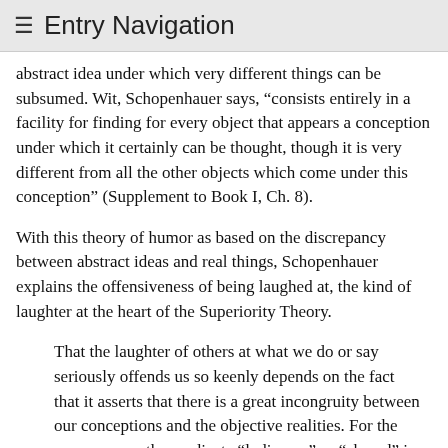≡ Entry Navigation
abstract idea under which very different things can be subsumed. Wit, Schopenhauer says, “consists entirely in a facility for finding for every object that appears a conception under which it certainly can be thought, though it is very different from all the other objects which come under this conception” (Supplement to Book I, Ch. 8).
With this theory of humor as based on the discrepancy between abstract ideas and real things, Schopenhauer explains the offensiveness of being laughed at, the kind of laughter at the heart of the Superiority Theory.
That the laughter of others at what we do or say seriously offends us so keenly depends on the fact that it asserts that there is a great incongruity between our conceptions and the objective realities. For the same reason, the predicate “ludicrous” or “absurd” is insulting. The laugh of scorn announces with triumph to the baffled adversary how incongruous were the conceptions he cherished with